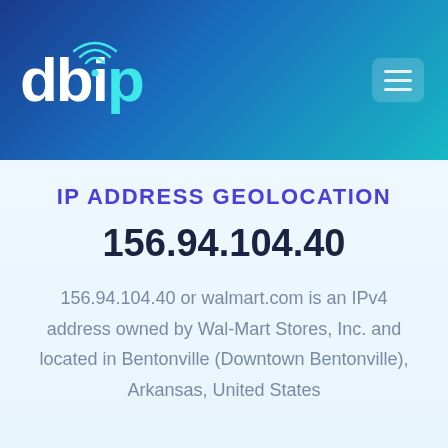[Figure (logo): db-ip.com logo with wifi signal icon above the 'i', teal colored 'p', white 'db' text on dark blue to teal gradient header background, with hamburger menu button top right]
IP ADDRESS GEOLOCATION
156.94.104.40
156.94.104.40 or walmart.com is an IPv4 address owned by Wal-Mart Stores, Inc. and located in Bentonville (Downtown Bentonville), Arkansas, United States